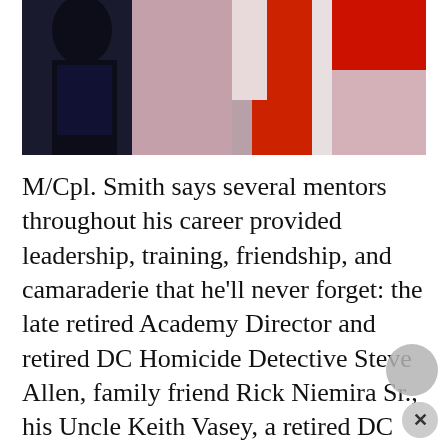[Figure (photo): Partial image showing a person in dark clothing against a background with red, white, and pink/mauve colored panels or flags.]
M/Cpl. Smith says several mentors throughout his career provided leadership, training, friendship, and camaraderie that he'll never forget: the late retired Academy Director and retired DC Homicide Detective Steve Allen, family friend Rick Niemira Sr., his Uncle Keith Vasey, a retired DC Homicide Detective, his Aunt Judy Vasey, a retired DC Homicide Detective, retired Director Rice #2110, retired Captain Gant #2141, and